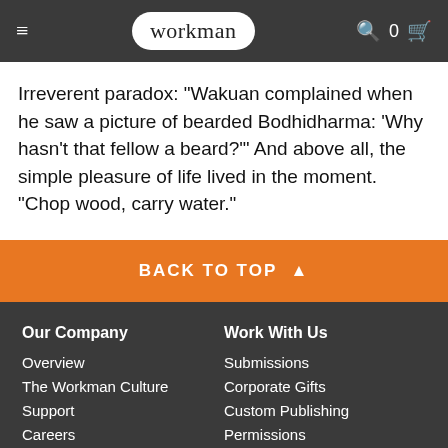workman
Irreverent paradox: "Wakuan complained when he saw a picture of bearded Bodhidharma: 'Why hasn't that fellow a beard?'" And above all, the simple pleasure of life lived in the moment. "Chop wood, carry water."
BACK TO TOP ▲
Our Company
Overview
The Workman Culture
Support
Careers
Contact Us
Terms
Work With Us
Submissions
Corporate Gifts
Custom Publishing
Permissions
Educators
Librarians